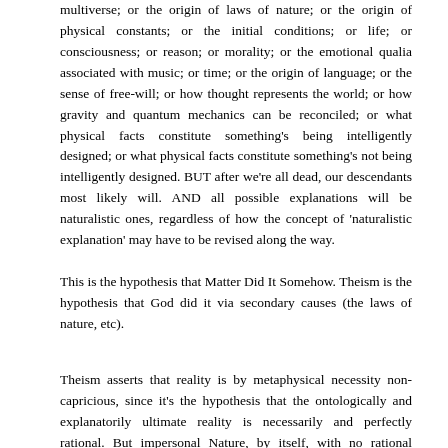multiverse; or the origin of laws of nature; or the origin of physical constants; or the initial conditions; or life; or consciousness; or reason; or morality; or the emotional qualia associated with music; or time; or the origin of language; or the sense of free-will; or how thought represents the world; or how gravity and quantum mechanics can be reconciled; or what physical facts constitute something's being intelligently designed; or what physical facts constitute something's not being intelligently designed. BUT after we're all dead, our descendants most likely will. AND all possible explanations will be naturalistic ones, regardless of how the concept of 'naturalistic explanation' may have to be revised along the way.
This is the hypothesis that Matter Did It Somehow. Theism is the hypothesis that God did it via secondary causes (the laws of nature, etc).
Theism asserts that reality is by metaphysical necessity non-capricious, since it's the hypothesis that the ontologically and explanatorily ultimate reality is necessarily and perfectly rational. But impersonal Nature, by itself, with no rational creator and superintendent, logically could have